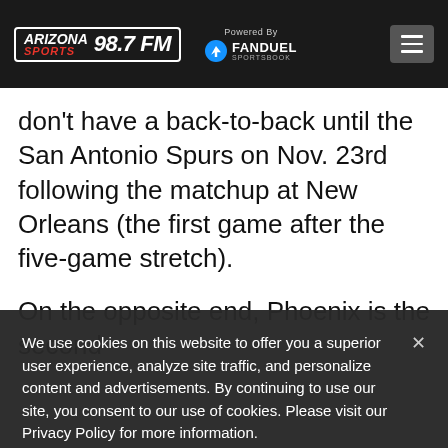ARIZONA SPORTS 98.7 FM | Powered By FANDUEL SPORTSBOOK
don't have a back-to-back until the San Antonio Spurs on Nov. 23rd following the matchup at New Orleans (the first game after the five-game stretch).

On the opposite end, Phoenix is the second
We use cookies on this website to offer you a superior user experience, analyze site traffic, and personalize content and advertisements. By continuing to use our site, you consent to our use of cookies. Please visit our Privacy Policy for more information.
Accept Cookies